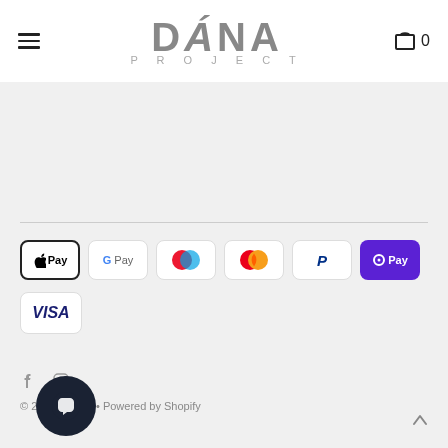DÁNA PROJECT – navigation header with hamburger menu and cart icon showing 0
[Figure (logo): DÁNA PROJECT logo in gray, large sans-serif bold text with accent on A]
[Figure (infographic): Payment method icons: Apple Pay, Google Pay, Maestro, Mastercard, PayPal, OPay, Visa]
© 2... a Project • Powered by Shopify